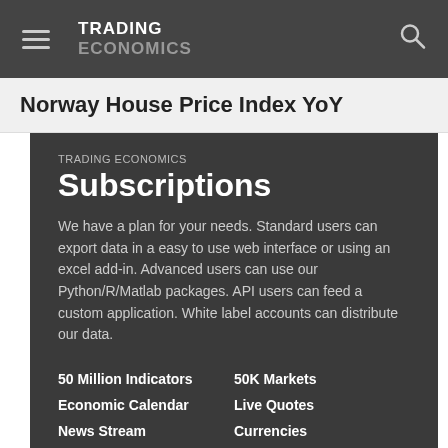TRADING ECONOMICS
Norway House Price Index YoY
TRADING ECONOMICS Subscriptions
We have a plan for your needs. Standard users can export data in a easy to use web interface or using an excel add-in. Advanced users can use our Python/R/Matlab packages. API users can feed a custom application. White label accounts can distribute our data.
50 Million Indicators
Economic Calendar
News Stream
Earnings Releases
Credit Ratings
Forecasts
50K Markets
Live Quotes
Currencies
Stocks
Commodities
Bonds